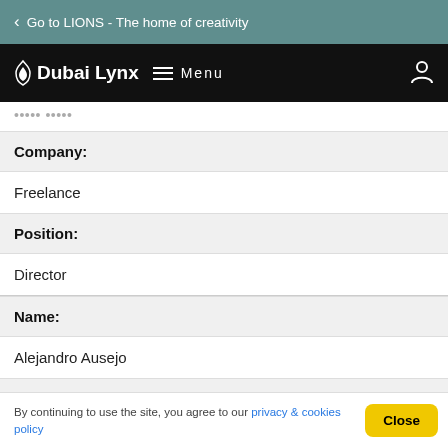Go to LIONS - The home of creativity
Dubai Lynx  Menu
• • • • • • • • • •
Company:
Freelance
Position:
Director
Name:
Alejandro Ausejo
Company
By continuing to use the site, you agree to our privacy & cookies policy  Close